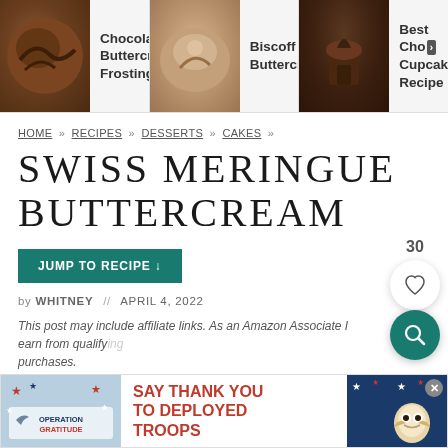[Figure (screenshot): Top navigation bar with three related recipe links: Chocolate Buttercream Frosting, Biscoff Buttercream, and Best Choco Cupcake Recipe, each with a thumbnail image.]
HOME » RECIPES » DESSERTS » CAKES »
SWISS MERINGUE BUTTERCREAM
JUMP TO RECIPE ↓
by WHITNEY // APRIL 4, 2022
This post may include affiliate links. As an Amazon Associate I earn from qualifying purchases.
[Figure (screenshot): Ad banner: Operation Gratitude - SAY THANK YOU TO DEPLOYED TROOPS with patriotic imagery and an owl mascot.]